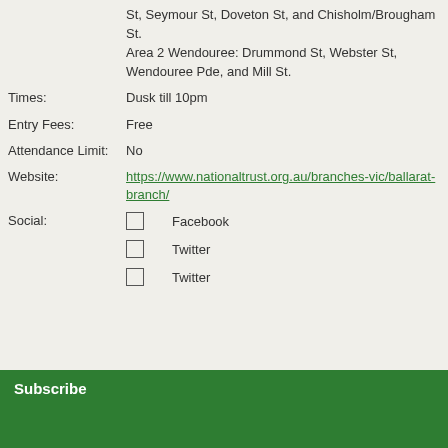St, Seymour St, Doveton St, and Chisholm/Brougham St. Area 2 Wendouree: Drummond St, Webster St, Wendouree Pde, and Mill St.
Times: Dusk till 10pm
Entry Fees: Free
Attendance Limit: No
Website: https://www.nationaltrust.org.au/branches-vic/ballarat-branch/
Social: Facebook Twitter Twitter